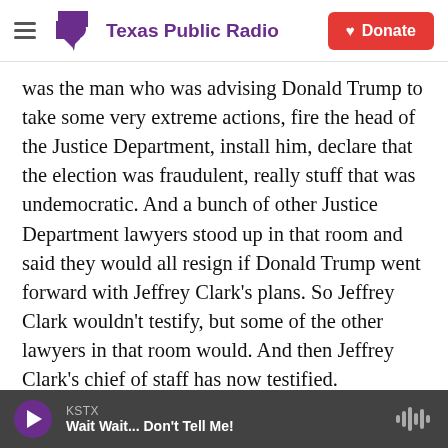Texas Public Radio | Donate
was the man who was advising Donald Trump to take some very extreme actions, fire the head of the Justice Department, install him, declare that the election was fraudulent, really stuff that was undemocratic. And a bunch of other Justice Department lawyers stood up in that room and said they would all resign if Donald Trump went forward with Jeffrey Clark's plans. So Jeffrey Clark wouldn't testify, but some of the other lawyers in that room would. And then Jeffrey Clark's chief of staff has now testified.

Another example is Mark Meadows, his - he's the
KSTX  Wait Wait... Don't Tell Me!